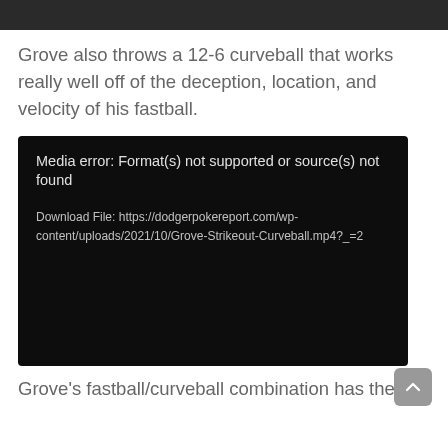[Figure (screenshot): Dark top navigation bar]
Grove also throws a 12-6 curveball that works really well off of the deception, location, and velocity of his fastball.
[Figure (screenshot): Media error box with dark background showing: 'Media error: Format(s) not supported or source(s) not found' and 'Download File: https://dodgerpokereport.com/wp-content/uploads/2021/10/Grove-Strikeout-Curveball.mp4?_=2']
Grove's fastball/curveball combination has the